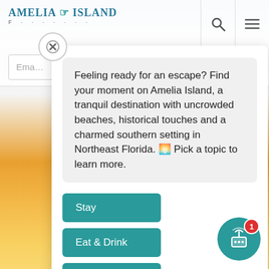[Figure (screenshot): Amelia Island tourism website screenshot showing a chat popup interface with a message about the destination and topic buttons: Stay, Eat & Drink, See & Do, Travel Safety. Background shows sunset scenery. Navigation bar with logo, search and menu icons at top.]
Feeling ready for an escape? Find your moment on Amelia Island, a tranquil destination with uncrowded beaches, historical touches and a charmed southern setting in Northeast Florida. 🌅 Pick a topic to learn more.
Stay
Eat & Drink
See & Do
Travel Safety